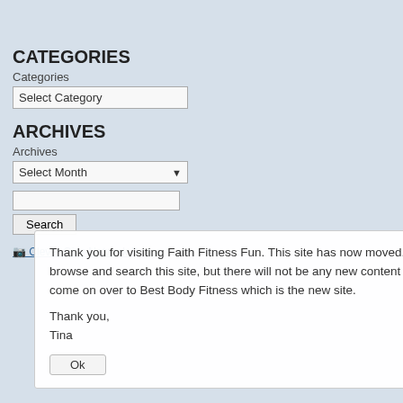CATEGORIES
Categories
Select Category
ARCHIVES
Archives
Select Month
Search
[Figure (logo): Clever Girls Network Badge image placeholder with link text]
[Figure (logo): Love Grown Foods circular stamp badge - I'm a LOVE blogger! LOVE GROWN FOODS SPREAD THE LOVE]
all. So – Hi! How are ya? Thanks for v
Second Workouts
I started my day at the gym with a Gro yesterday, I felt ready to go and uppe lunges, and shoulders). I always like t
Thank you for visiting Faith Fitness Fun. This site has now moved. You may continue to browse and search this site, but there will not be any new content posted to it. Please come on over to Best Body Fitness which is the new site.

Thank you,
Tina
Ok
This afternoon, I had my second from this morning so I managed to hea that works for running. I did a 4.33 mi finally warms up again! And I get to ru
Second Helpings
For dinner last night, I pressed and cu 1/3 cup of my favorite BBQ sauce. I ba oven and then made the wrap of my d cheese, pickles, BBQ tofu, and a dr
[Figure (photo): bbqtofuwrap image placeholder]
It only seemed right that I had a secor